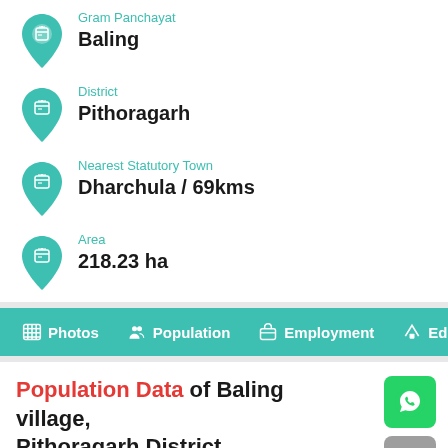Gram Panchayat: Baling
District: Pithoragarh
Nearest Statutory Town: Dharchula / 69kms
Area: 218.23 ha
Photos  Population  Employment  Educa
Population Data of Baling village, Pithoragarh District
Baling village in Pithoragarh district has a total population